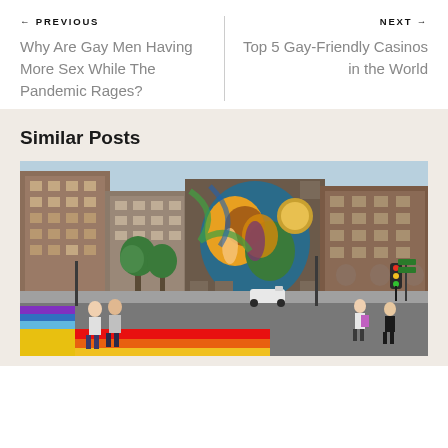← PREVIOUS
Why Are Gay Men Having More Sex While The Pandemic Rages?
NEXT →
Top 5 Gay-Friendly Casinos in the World
Similar Posts
[Figure (photo): Street scene showing a colorful intersection with a rainbow crosswalk, pedestrians, urban buildings, and a large mural painted on a building wall in what appears to be a gay-friendly neighborhood.]